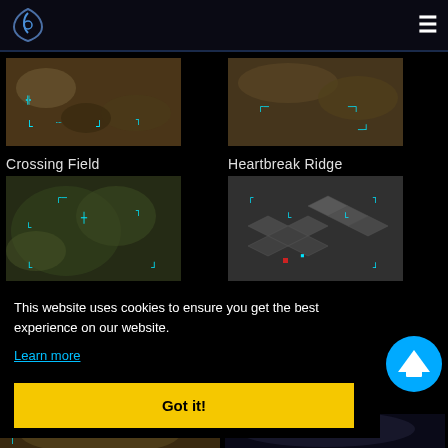Logo and navigation menu
[Figure (screenshot): Crossing Field map thumbnail - top-down RTS game map with cyan markers on terrain]
Crossing Field
[Figure (screenshot): Heartbreak Ridge map thumbnail - top-down RTS game map with cyan markers on terrain]
Heartbreak Ridge
[Figure (screenshot): Third map thumbnail - top-down RTS game map with green/brown terrain and cyan markers]
[Figure (screenshot): Fourth map thumbnail - isometric city/building tile map with cyan markers]
This website uses cookies to ensure you get the best experience on our website.
Learn more
Got it!
[Figure (screenshot): Fifth map thumbnail partial - bottom of page]
[Figure (screenshot): Sixth map thumbnail partial - bottom of page]